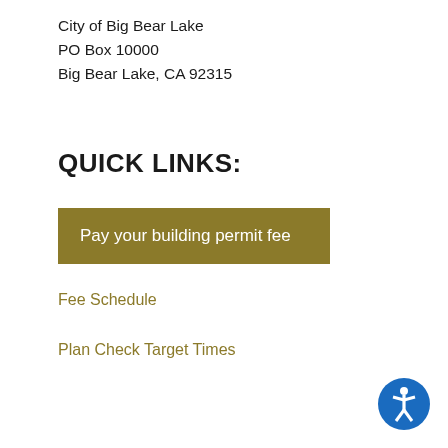City of Big Bear Lake
PO Box 10000
Big Bear Lake, CA 92315
QUICK LINKS:
Pay your building permit fee
Fee Schedule
Plan Check Target Times
[Figure (illustration): Blue circular accessibility icon with a white human figure in the bottom-right corner]